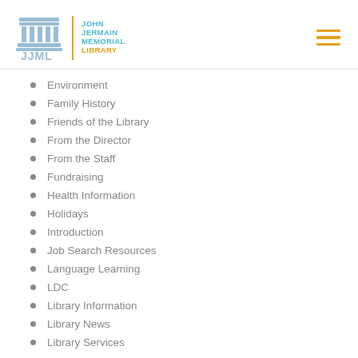[Figure (logo): John Jermain Memorial Library logo with building icon, vertical orange divider, and library name in teal text]
Environment
Family History
Friends of the Library
From the Director
From the Staff
Fundraising
Health Information
Holidays
Introduction
Job Search Resources
Language Learning
LDC
Library Information
Library News
Library Services